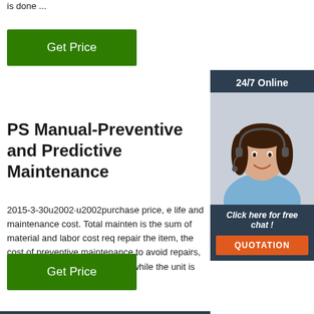is done ...
Get Price
[Figure (photo): 24/7 Online customer service representative, woman with headset smiling, with 'Click here for free chat!' and QUOTATION button overlay]
PS Manual-Preventive and Predictive Maintenance
2015-3-30u2002·u2002purchase price, e life and maintenance cost. Total mainten is the sum of material and labor cost req repair the item, the cost of preventive maintenance to avoid repairs, plus the cost of lost production while the unit is out of service ...
Get Price